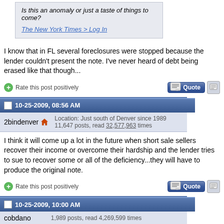Is this an anomaly or just a taste of things to come?
The New York Times > Log In
I know that in FL several foreclosures were stopped because the lender couldn't present the note. I've never heard of debt being erased like that though...
Rate this post positively
10-25-2009, 08:56 AM
2bindenver  Location: Just south of Denver since 1989  11,647 posts, read 32,577,963 times
I think it will come up a lot in the future when short sale sellers recover their income or overcome their hardship and the lender tries to sue to recover some or all of the deficiency...they will have to produce the original note.
Rate this post positively
10-25-2009, 10:00 AM
cobdano  1,989 posts, read 4,269,599 times